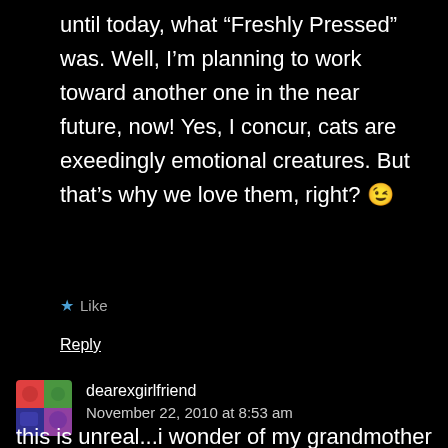until today, what “Freshly Pressed” was. Well, I’m planning to work toward another one in the near future, now! Yes, I concur, cats are exeedingly emotional creatures. But that’s why we love them, right? 😉
★ Like
Reply
dearexgirlfriend
November 22, 2010 at 8:53 am
this is unreal...i wonder of my grandmother